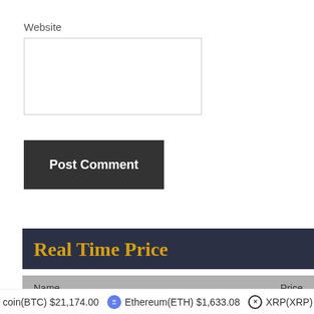Website
[Figure (other): Website input text box (form field)]
Post Comment
Real Time Price
| Name | Price |
| --- | --- |
| Bitcoin | $21,174.00 |
coin(BTC) $21,174.00  Ethereum(ETH) $1,633.08  XRP(XRP)